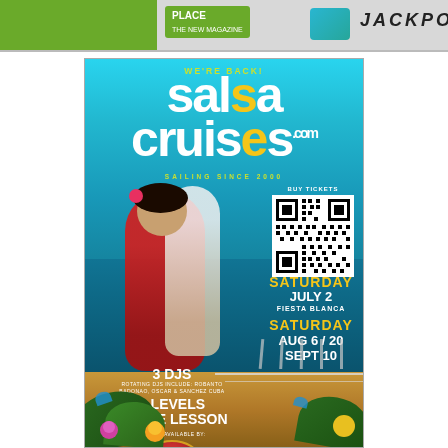[Figure (infographic): Top banner with 'Place' text and 'JACKPOT' text]
[Figure (infographic): Salsa Cruises advertisement poster. Shows 'WE'RE BACK!' tagline, 'salsa cruises.com' logo, 'SAILING SINCE 2000', photo of dancing couple on yacht deck, QR code with 'BUY TICKETS', event dates: Saturday July 2 Fiesta Blanca, Saturday Aug 6/20, Sept 10. Features: 3 DJs (rotating DJs include: Robanto, Badonao, Oscar & Sanchez Cuba), 3 Levels Dance Lesson, Food is available by (restaurant logo). Background shows ocean and yacht deck with tropical flowers.]